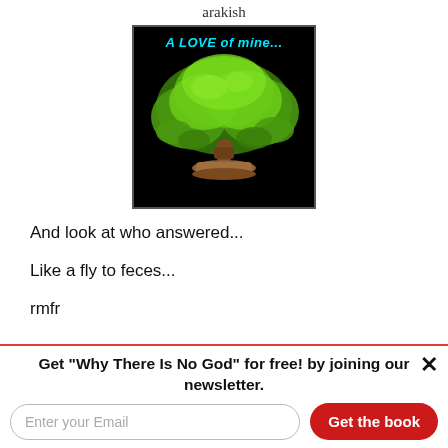arakish
[Figure (illustration): Book cover image on black background showing a bonsai tree with text 'A LOVE of mine...' in cyan italic bold font]
And look at who answered...
Like a fly to feces...
rmfr
Log in or register to post comments
Get "Why There Is No God" for free! by joining our newsletter.